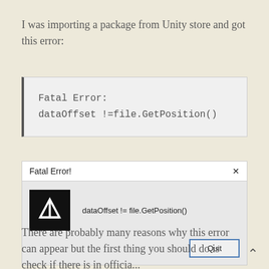I was importing a package from Unity store and got this error:
[Figure (screenshot): Code block showing: Fatal Error: dataOffset !=file.GetPosition()]
[Figure (screenshot): Unity Fatal Error dialog box showing 'dataOffset != file.GetPosition()' with Unity logo and Quit button]
There are probably many reasons why this error can appear but the first thing you should do is check if there is in official...